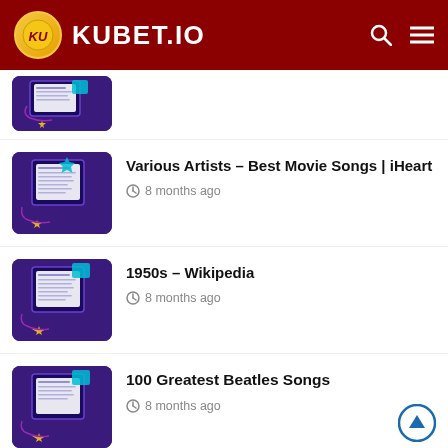KUBET.IO
[Figure (screenshot): Partial thumbnail showing purple laptop/document illustration with stars]
Various Artists – Best Movie Songs | iHeart
8 months ago
1950s – Wikipedia
8 months ago
100 Greatest Beatles Songs
8 months ago